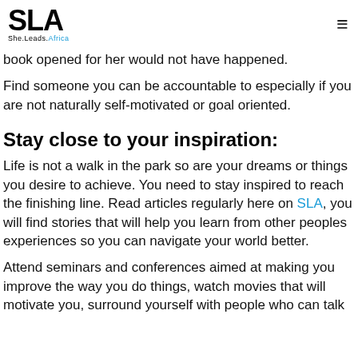SLA She.Leads.Africa
book opened for her would not have happened.
Find someone you can be accountable to especially if you are not naturally self-motivated or goal oriented.
Stay close to your inspiration:
Life is not a walk in the park so are your dreams or things you desire to achieve. You need to stay inspired to reach the finishing line. Read articles regularly here on SLA, you will find stories that will help you learn from other peoples experiences so you can navigate your world better.
Attend seminars and conferences aimed at making you improve the way you do things, watch movies that will motivate you, surround yourself with people who can talk